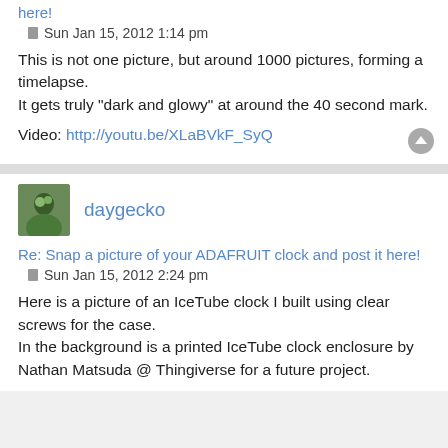here!
Sun Jan 15, 2012 1:14 pm
This is not one picture, but around 1000 pictures, forming a timelapse.
It gets truly "dark and glowy" at around the 40 second mark.
Video: http://youtu.be/XLaBVkF_SyQ
daygecko
Re: Snap a picture of your ADAFRUIT clock and post it here!
Sun Jan 15, 2012 2:24 pm
Here is a picture of an IceTube clock I built using clear screws for the case.
In the background is a printed IceTube clock enclosure by Nathan Matsuda @ Thingiverse for a future project.